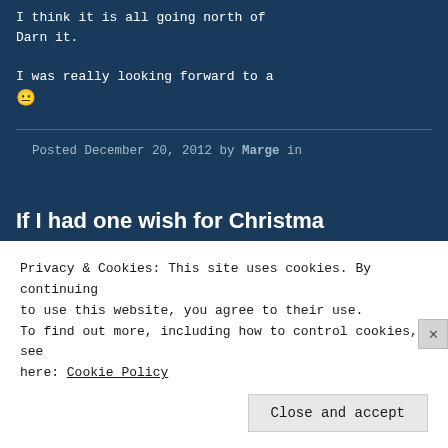I think it is all going north of. Darn it.
I was really looking forward to a 😐
Posted December 20, 2012 by Marge in
If I had one wish for Christma
if I had just one wish for Christ
that we could get over the wars a
that people wouldn't think of kil matter, and life would be good.
Privacy & Cookies: This site uses cookies. By continuing to use this website, you agree to their use.
To find out more, including how to control cookies, see here: Cookie Policy
Close and accept